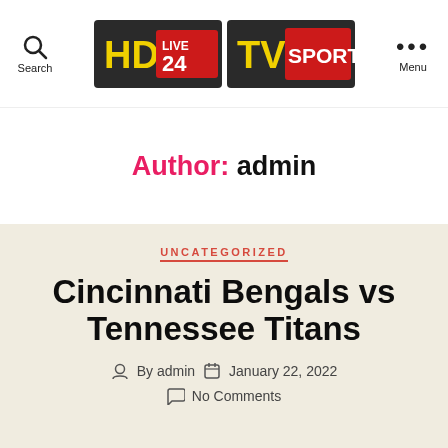[Figure (screenshot): Website header with HD LIVE 24 and TV SPORT logos, Search icon on left, Menu icon on right]
Author: admin
UNCATEGORIZED
Cincinnati Bengals vs Tennessee Titans
By admin  January 22, 2022  No Comments